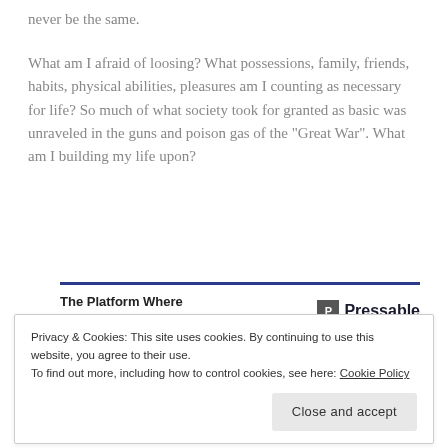never be the same.
What am I afraid of loosing? What possessions, family, friends, habits, physical abilities, pleasures am I counting as necessary for life? So much of what society took for granted as basic was unraveled in the guns and poison gas of the "Great War". What am I building my life upon?
[Figure (other): Advertisement banner for Pressable: 'The Platform Where WordPress Works Best' with Pressable logo and blue top border]
"For I am convinced that neither death, nor life, nor angels,
Privacy & Cookies: This site uses cookies. By continuing to use this website, you agree to their use. To find out more, including how to control cookies, see here: Cookie Policy
Close and accept